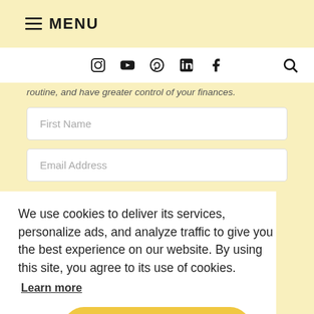☰ MENU
[Figure (other): Social media icons bar: Instagram, YouTube, Pinterest, LinkedIn, Facebook, and a search icon]
routine, and have greater control of your finances.
First Name
Email Address
We use cookies to deliver its services, personalize ads, and analyze traffic to give you the best experience on our website. By using this site, you agree to its use of cookies.
Learn more
Got it!